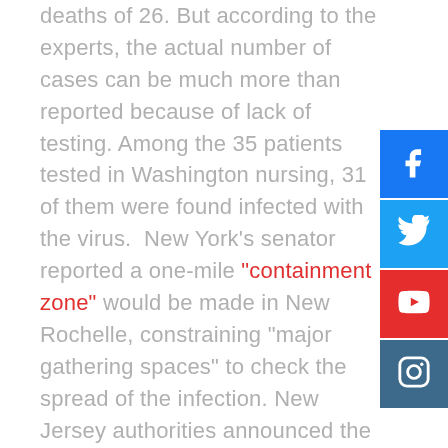deaths of 26. But according to the experts, the actual number of cases can be much more than reported because of lack of testing. Among the 35 patients tested in Washington nursing, 31 of them were found infected with the virus. New York's senator reported a one-mile "containment zone" would be made in New Rochelle, constraining "major gathering spaces" to check the spread of the infection. New Jersey authorities announced the first death in the state from the Coronavirus. Trump's new chief of staff Mark is also under self-quarantine